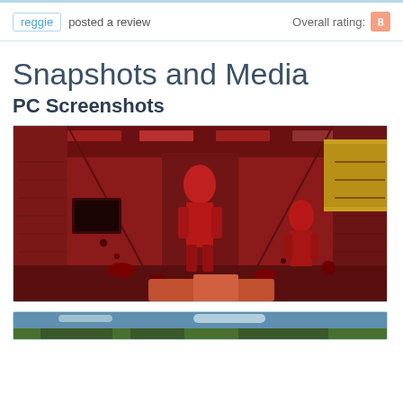reggie posted a review  Overall rating: 8
Snapshots and Media
PC Screenshots
[Figure (screenshot): First-person shooter video game screenshot with red-tinted corridor scene showing enemies and gore. PC game environment with brick/metal walls, ceiling lights, and combat scene.]
[Figure (screenshot): Partially visible second screenshot at the bottom of the page, showing an outdoor or different game scene.]